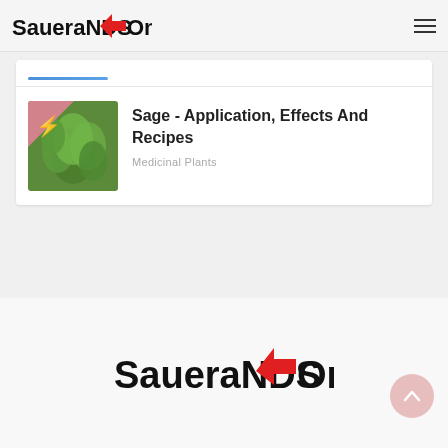SaueraNDS→Ons
[Figure (screenshot): Article card showing sage plant image with title 'Sage - Application, Effects And Recipes' and category 'Medicinal Plants']
Sage - Application, Effects And Recipes
Medicinal Plants
[Figure (logo): SaueraNDSOns logo with red arrow, large version at bottom of page]